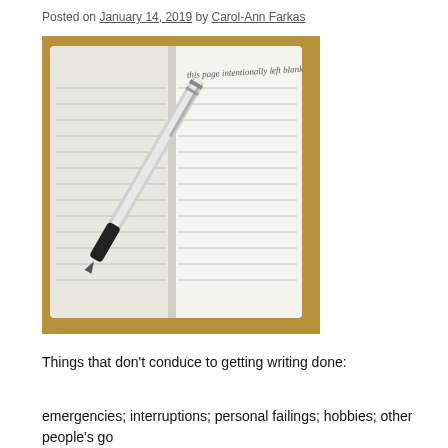Posted on January 14, 2019 by Carol-Ann Farkas
[Figure (photo): Open notebook with lined pages and a silver and black pen resting on top, on a brown textured background]
Things that don't conduce to getting writing done:
emergencies; interruptions; personal failings; hobbies; other people's go... better writing; you need to ... lists, themes, and distinctions, and you behind ...